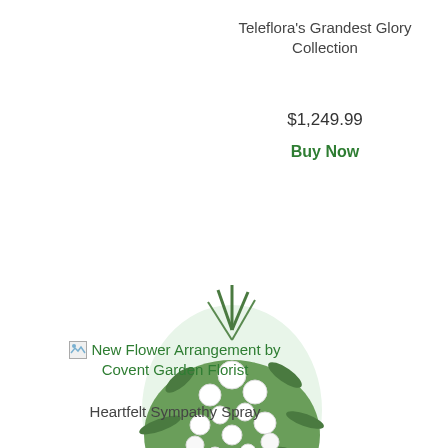Teleflora's Grandest Glory Collection
$1,249.99
Buy Now
[Figure (photo): White floral spray arrangement with green foliage on a standing easel]
New Flower Arrangement by Covent Garden Florist
Heartfelt Sympathy Spray